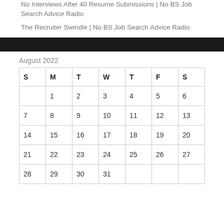No Interviews After 40 Resume Submissions | No BS Job Search Advice Radio
The Recruiter Swindle | No BS Job Search Advice Radio
August 2022
| S | M | T | W | T | F | S |
| --- | --- | --- | --- | --- | --- | --- |
|  | 1 | 2 | 3 | 4 | 5 | 6 |
| 7 | 8 | 9 | 10 | 11 | 12 | 13 |
| 14 | 15 | 16 | 17 | 18 | 19 | 20 |
| 21 | 22 | 23 | 24 | 25 | 26 | 27 |
| 28 | 29 | 30 | 31 |  |  |  |